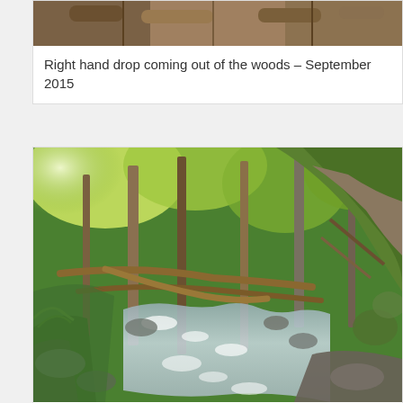[Figure (photo): Cropped top portion of a forest scene showing tree branches and bark, partially cut off at top of page]
Right hand drop coming out of the woods – September 2015
[Figure (photo): A lush green forest scene with a rocky stream/creek flowing through it, fallen logs crossing the water, tall trees with green foliage, sunlight filtering through the canopy, moss-covered rocks and hillside]